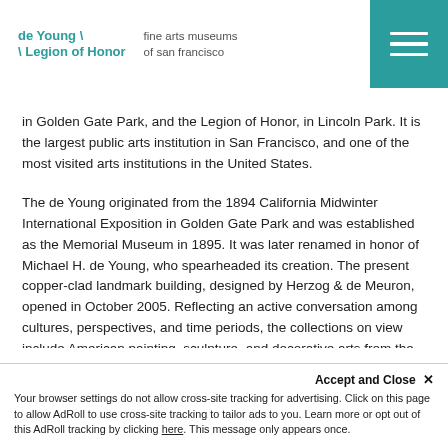de Young \ Legion of Honor | fine arts museums of san francisco
in Golden Gate Park, and the Legion of Honor, in Lincoln Park. It is the largest public arts institution in San Francisco, and one of the most visited arts institutions in the United States.
The de Young originated from the 1894 California Midwinter International Exposition in Golden Gate Park and was established as the Memorial Museum in 1895. It was later renamed in honor of Michael H. de Young, who spearheaded its creation. The present copper-clad landmark building, designed by Herzog & de Meuron, opened in October 2005. Reflecting an active conversation among cultures, perspectives, and time periods, the collections on view include American painting, sculpture, and decorative arts from the 17th to the 21st centuries; arts of Africa, Oceania, and the Americas; costume and textile arts; and
Accept and Close ✕ Your browser settings do not allow cross-site tracking for advertising. Click on this page to allow AdRoll to use cross-site tracking to tailor ads to you. Learn more or opt out of this AdRoll tracking by clicking here. This message only appears once.